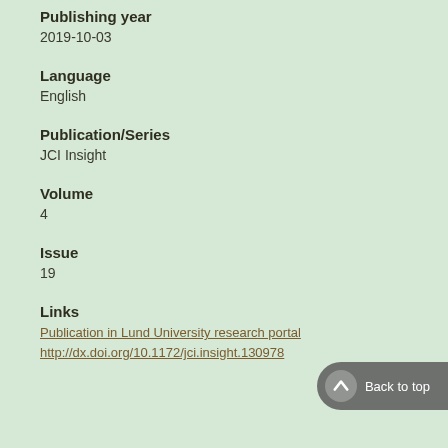Publishing year
2019-10-03
Language
English
Publication/Series
JCI Insight
Volume
4
Issue
19
Links
Publication in Lund University research portal
http://dx.doi.org/10.1172/jci.insight.130978